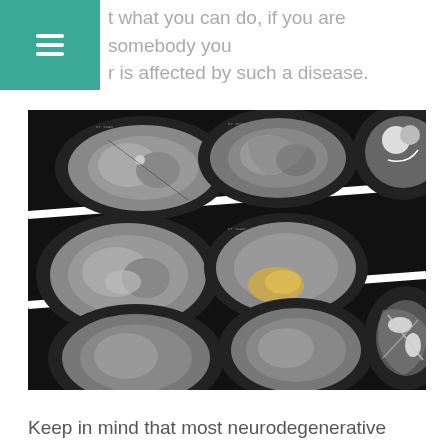t what you can do, if you are somebody you r is affected by such a disease.
[Figure (photo): Multiple brain CT scan images arranged in a grid on a black background, showing various cross-sectional views of human brains including some with visible abnormalities.]
Keep in mind that most neurodegenerative